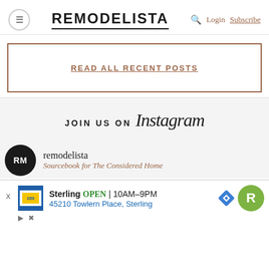≡ REMODELISTA Login Subscribe
READ ALL RECENT POSTS
JOIN US ON Instagram
remodelista
Sourcebook for The Considered Home
[Figure (screenshot): Advertisement banner showing Carson's/cm store in Sterling, OPEN 10AM-9PM, 45210 Towlern Place, Sterling with navigation icons]
Sterling OPEN | 10AM–9PM
45210 Towlern Place, Sterling